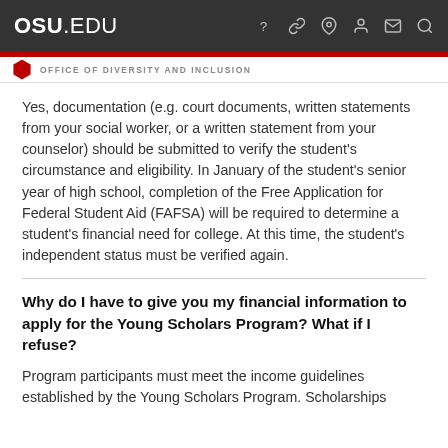OSU.EDU
OFFICE OF DIVERSITY AND INCLUSION
Yes, documentation (e.g. court documents, written statements from your social worker, or a written statement from your counselor) should be submitted to verify the student's circumstance and eligibility. In January of the student's senior year of high school, completion of the Free Application for Federal Student Aid (FAFSA) will be required to determine a student's financial need for college. At this time, the student's independent status must be verified again.
Why do I have to give you my financial information to apply for the Young Scholars Program? What if I refuse?
Program participants must meet the income guidelines established by the Young Scholars Program. Scholarships